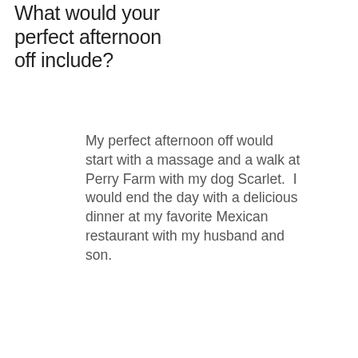What would your perfect afternoon off include?
My perfect afternoon off would start with a massage and a walk at Perry Farm with my dog Scarlet.  I would end the day with a delicious dinner at my favorite Mexican restaurant with my husband and son.
BACK TO TOP
Call us today on 1-815-802-7503
Email:
info@rivervalleypt.com
More info >>